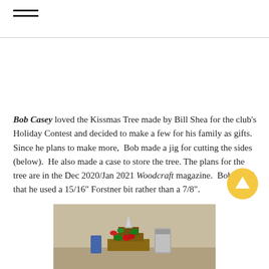≡
Bob Casey loved the Kissmas Tree made by Bill Shea for the club's Holiday Contest and decided to make a few for his family as gifts.  Since he plans to make more,  Bob made a jig for cutting the sides (below).  He also made a case to store the tree. The plans for the tree are in the Dec 2020/Jan 2021 Woodcraft magazine.  Bob noted that he used a 15/16" Forstner bit rather than a 7/8".
[Figure (photo): Photo of a wooden Kissmas Tree with Hershey's Kisses candies in red and green foil arranged on it, with a can visible in the background, set on a workbench.]